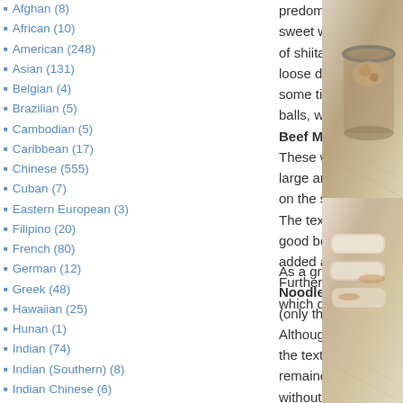Afghan (8)
African (10)
American (248)
Asian (131)
Belgian (4)
Brazilian (5)
Cambodian (5)
Caribbean (17)
Chinese (555)
Cuban (7)
Eastern European (3)
Filipino (20)
French (80)
German (12)
Greek (48)
Hawaiian (25)
Hunan (1)
Indian (74)
Indian (Southern) (8)
Indian Chinese (6)
International (138)
Italian (169)
predominantly sweet with a touch of shiitake. From a loose dumpling to some tightly packed balls, we had the Beef Meatballs. These were also large and barely fit on the sauce plate. The texture was soft with a good bounce A chestnuts added a nice crunch. Furthermore onion for flavour which didn't overwhelm th
As a group we love Rice Noodle Rolls, so shrimp (only the beef is pictured). Although on the thicker side, the texture remained soft without being too wet. The shrimp
[Figure (photo): Photo of food in a jar, likely dumplings or meatballs with sauce]
[Figure (photo): Photo of rice noodle rolls]